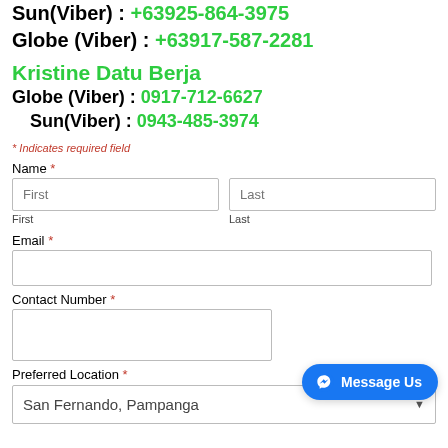Sun(Viber) : +63925-864-3975
Globe (Viber) : +63917-587-2281
Kristine Datu Berja
Globe (Viber) : 0917-712-6627
Sun(Viber) : 0943-485-3974
* Indicates required field
Name *
First
Last
Email *
Contact Number *
Preferred Location *
San Fernando, Pampanga
[Figure (screenshot): Message Us button - Facebook Messenger widget button]